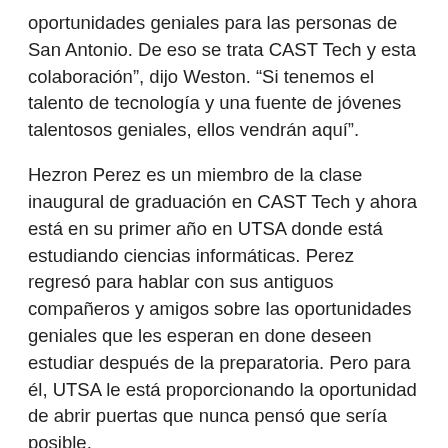oportunidades geniales para las personas de San Antonio. De eso se trata CAST Tech y esta colaboración", dijo Weston. "Si tenemos el talento de tecnología y una fuente de jóvenes talentosos geniales, ellos vendrán aquí".
Hezron Perez es un miembro de la clase inaugural de graduación en CAST Tech y ahora está en su primer año en UTSA donde está estudiando ciencias informáticas. Perez regresó para hablar con sus antiguos compañeros y amigos sobre las oportunidades geniales que les esperan en done deseen estudiar después de la preparatoria. Pero para él, UTSA le está proporcionando la oportunidad de abrir puertas que nunca pensó que sería posible.
"Debido a la base que CAST Tech y UTSA ya han edificado, y a los créditos universitarios que recibí en el campus del centro de la ciudad de UTSA, tengo